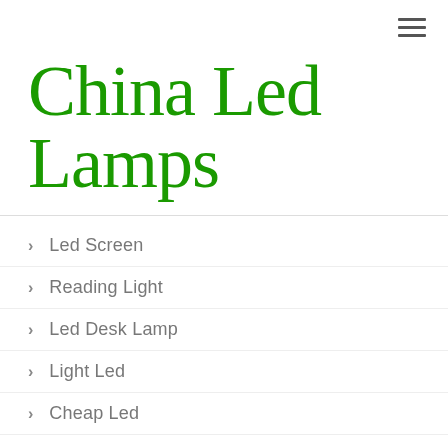China Led Lamps
Led Screen
Reading Light
Led Desk Lamp
Light Led
Cheap Led
Led Bulbs